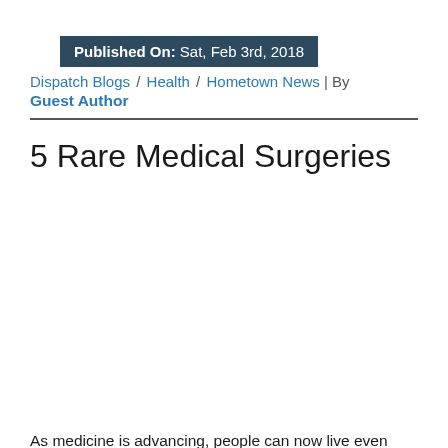Published On: Sat, Feb 3rd, 2018
Dispatch Blogs / Health / Hometown News | By
Guest Author
5 Rare Medical Surgeries
[Figure (photo): Image placeholder area (white/blank)]
As medicine is advancing, people can now live even longer than before. Medical conditions